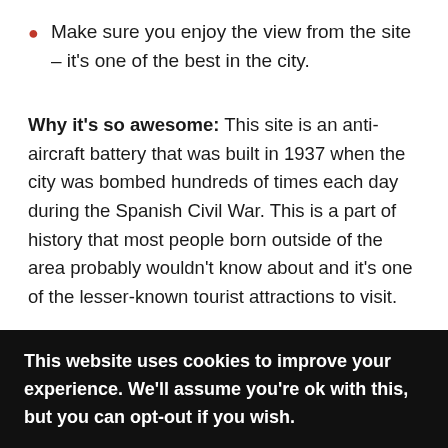Make sure you enjoy the view from the site – it's one of the best in the city.
Why it's so awesome: This site is an anti-aircraft battery that was built in 1937 when the city was bombed hundreds of times each day during the Spanish Civil War. This is a part of history that most people born outside of the area probably wouldn't know about and it's one of the lesser-known tourist attractions to visit.
The Spanish Civil War went on from 1936 to 1939 and it
This website uses cookies to improve your experience. We'll assume you're ok with this, but you can opt-out if you wish.